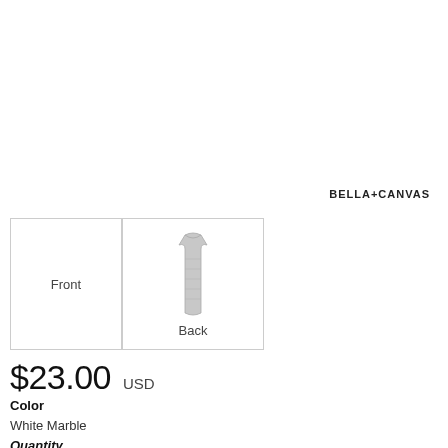BELLA+CANVAS
[Figure (photo): Front view placeholder (empty box labeled Front) and back view of a light gray sleeveless dress/tank product]
$23.00 USD
Color
White Marble
Quantity